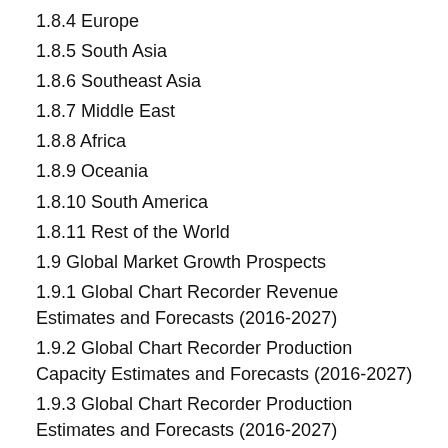1.8.4 Europe
1.8.5 South Asia
1.8.6 Southeast Asia
1.8.7 Middle East
1.8.8 Africa
1.8.9 Oceania
1.8.10 South America
1.8.11 Rest of the World
1.9 Global Market Growth Prospects
1.9.1 Global Chart Recorder Revenue Estimates and Forecasts (2016-2027)
1.9.2 Global Chart Recorder Production Capacity Estimates and Forecasts (2016-2027)
1.9.3 Global Chart Recorder Production Estimates and Forecasts (2016-2027)
2 Manufacturing Cost Structure Analysis
2.1 Raw Material
2.2 Manufacturing Cost Structure Analysis of Chart Recorder